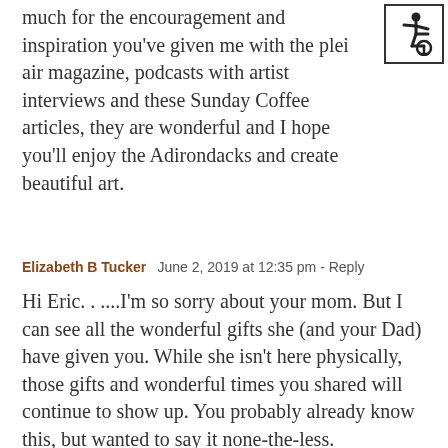much for the encouragement and inspiration you've given me with the plei air magazine, podcasts with artist interviews and these Sunday Coffee articles, they are wonderful and I hope you'll enjoy the Adirondacks and create beautiful art.
[Figure (other): Accessibility (wheelchair) icon in a bordered square box, top-right corner]
Elizabeth B Tucker  June 2, 2019 at 12:35 pm - Reply
Hi Eric. . ...I'm so sorry about your mom. But I can see all the wonderful gifts she (and your Dad) have given you. While she isn't here physically, those gifts and wonderful times you shared will continue to show up. You probably already know this, but wanted to say it none-the-less.